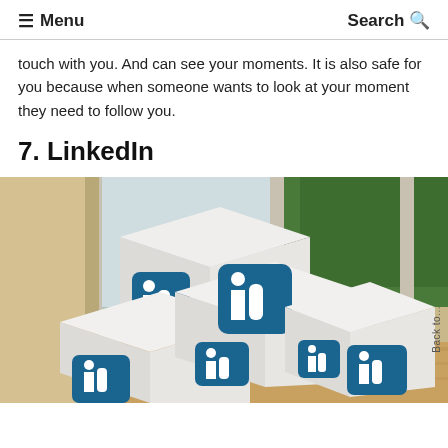≡ Menu   Search Q
touch with you. And can see your moments. It is also safe for you because when someone wants to look at your moment they need to follow you.
7. LinkedIn
[Figure (photo): Three white cube blocks with LinkedIn 'in' logos stacked together on a wooden surface near a window with green trees visible outside.]